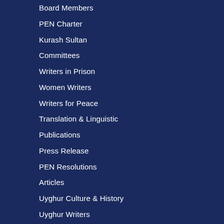Board Members
PEN Charter
Kurash Sultan
Committees
Writers in Prison
Women Writers
Writers for Peace
Translation & Linguistic
Publications
Press Release
PEN Resolutions
Articles
Uyghur Culture & History
Uyghur Writers
Multimedia
News
Video
Audio
Literature